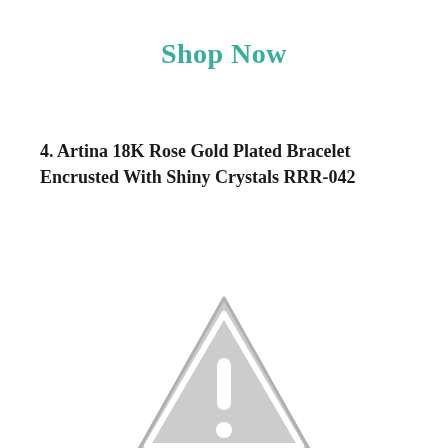Shop Now
4. Artina 18K Rose Gold Plated Bracelet Encrusted With Shiny Crystals RRR-042
[Figure (other): A grey warning triangle icon with an exclamation mark inside, partially visible at the bottom of the page.]